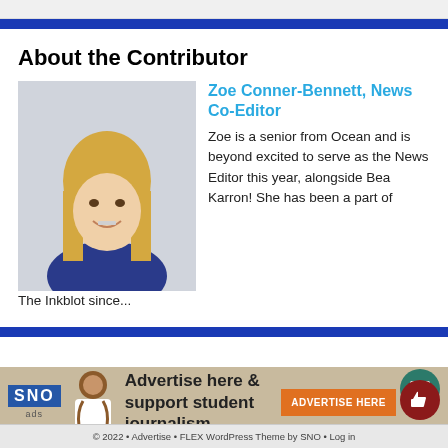About the Contributor
[Figure (photo): Photo of Zoe Conner-Bennett, a teenage girl with long blonde hair wearing a blue school shirt, smiling at the camera against a light gray wall.]
Zoe Conner-Bennett, News Co-Editor
Zoe is a senior from Ocean and is beyond excited to serve as the News Editor this year, alongside Bea Karron! She has been a part of The Inkblot since...
[Figure (infographic): SNO ads advertisement banner: Advertise here & support student journalism, with Advertise Here button and a person illustration.]
© 2022 • Advertise • FLEX WordPress Theme by SNO • Log in